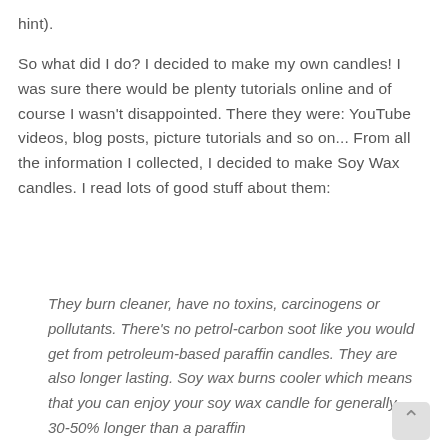hint).
So what did I do? I decided to make my own candles! I was sure there would be plenty tutorials online and of course I wasn't disappointed. There they were: YouTube videos, blog posts, picture tutorials and so on... From all the information I collected, I decided to make Soy Wax candles. I read lots of good stuff about them:
They burn cleaner, have no toxins, carcinogens or pollutants. There's no petrol-carbon soot like you would get from petroleum-based paraffin candles. They are also longer lasting. Soy wax burns cooler which means that you can enjoy your soy wax candle for generally 30-50% longer than a paraffin candle.